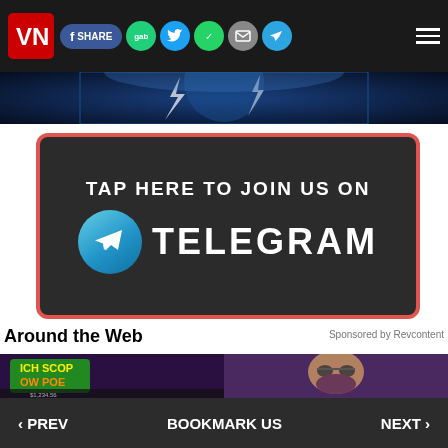[Figure (screenshot): Website navigation bar with red logo VN, share buttons (Facebook Share, gab, Twitter, WhatsApp, email, Telegram), and hamburger menu on dark background]
[Figure (screenshot): Blue banner with lightning bolt and globe imagery]
[Figure (infographic): Dark banner with red border saying TAP HERE TO JOIN US ON TELEGRAM with Telegram logo circle]
Around the Web
Sponsored by Revcontent
[Figure (screenshot): Two content thumbnails side by side: left shows colorful game/slot machine graphics, right shows a man with glasses in purple-lit setting]
‹ PREV   BOOKMARK US   NEXT ›